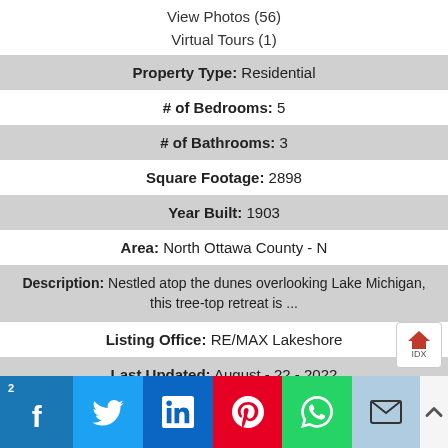View Photos (56)
Virtual Tours (1)
| Property Type: | Residential |
| # of Bedrooms: | 5 |
| # of Bathrooms: | 3 |
| Square Footage: | 2898 |
| Year Built: | 1903 |
| Area: | North Ottawa County - N |
| Description: | Nestled atop the dunes overlooking Lake Michigan, this tree-top retreat is ... |
| Listing Office: | RE/MAX Lakeshore |
| Last Updated: | August - 22 - 2022 |